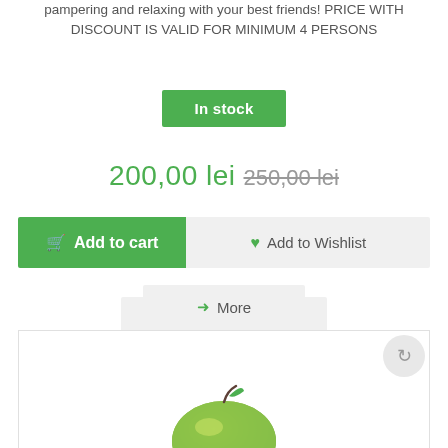pampering and relaxing with your best friends! PRICE WITH DISCOUNT IS VALID FOR MINIMUM 4 PERSONS
In stock
200,00 lei 250,00 lei
Add to cart
Add to Wishlist
Add to Compare
More
[Figure (photo): Product image area showing a green apple or similar fruit on white background, partially visible at bottom of page]